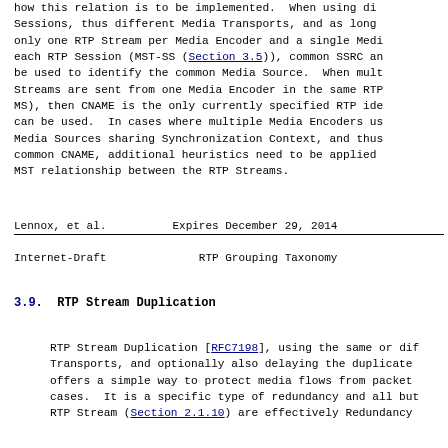how this relation is to be implemented.  When using di Sessions, thus different Media Transports, and as long only one RTP Stream per Media Encoder and a single Medi each RTP Session (MST-SS (Section 3.5)), common SSRC an be used to identify the common Media Source.  When mult Streams are sent from one Media Encoder in the same RTP MS), then CNAME is the only currently specified RTP ide can be used.  In cases where multiple Media Encoders us Media Sources sharing Synchronization Context, and thus common CNAME, additional heuristics need to be applied MST relationship between the RTP Streams.
Lennox, et al.          Expires December 29, 2014
Internet-Draft          RTP Grouping Taxonomy
3.9.  RTP Stream Duplication
RTP Stream Duplication [RFC7198], using the same or dif Transports, and optionally also delaying the duplicate offers a simple way to protect media flows from packet cases.  It is a specific type of redundancy and all but RTP Stream (Section 2.1.10) are effectively Redundancy